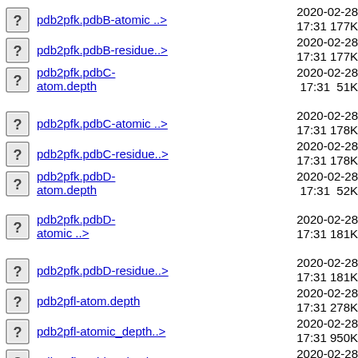pdb2pfk.pdbB-atomic ..>  2020-02-28 17:31  177K
pdb2pfk.pdbB-residue..>  2020-02-28 17:31  177K
pdb2pfk.pdbC-atom.depth  2020-02-28 17:31  51K
pdb2pfk.pdbC-atomic ..>  2020-02-28 17:31  178K
pdb2pfk.pdbC-residue..>  2020-02-28 17:31  178K
pdb2pfk.pdbD-atom.depth  2020-02-28 17:31  52K
pdb2pfk.pdbD-atomic ..>  2020-02-28 17:31  181K
pdb2pfk.pdbD-residue..>  2020-02-28 17:31  181K
pdb2pfl-atom.depth  2020-02-28 17:31  278K
pdb2pfl-atomic_depth..>  2020-02-28 17:31  950K
pdb2pfl-residue.depth  2020-02-28 17:31  119K